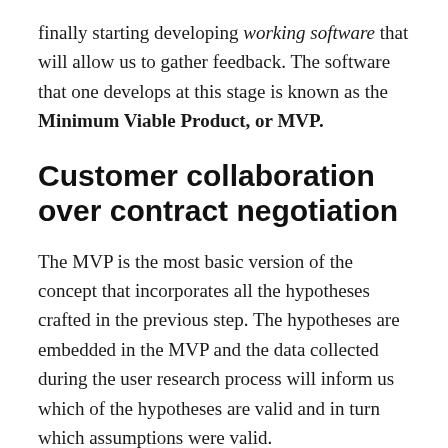finally starting developing working software that will allow us to gather feedback. The software that one develops at this stage is known as the Minimum Viable Product, or MVP.
Customer collaboration over contract negotiation
The MVP is the most basic version of the concept that incorporates all the hypotheses crafted in the previous step. The hypotheses are embedded in the MVP and the data collected during the user research process will inform us which of the hypotheses are valid and in turn which assumptions were valid.